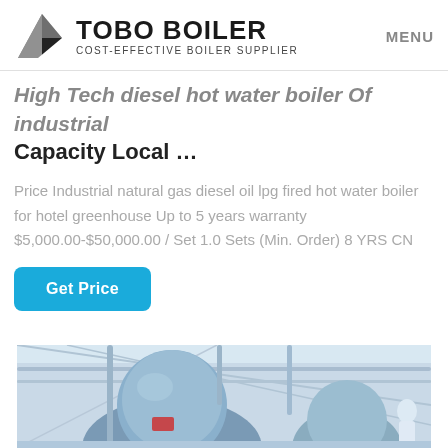TOBO BOILER — COST-EFFECTIVE BOILER SUPPLIER | MENU
High Tech diesel hot water boiler Of Industrial Capacity Local …
Price Industrial natural gas diesel oil lpg fired hot water boiler for hotel greenhouse Up to 5 years warranty $5,000.00-$50,000.00 / Set 1.0 Sets (Min. Order) 8 YRS CN
Get Price
[Figure (photo): Industrial boiler equipment inside a factory, showing large cylindrical blue boiler vessels with pipes and structural framework in a warehouse-style building.]